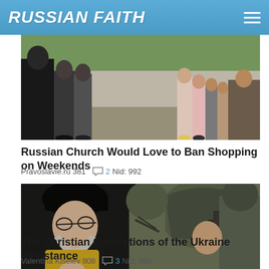RUSSIAN FAITH
[Figure (photo): Group of people standing outdoors, some wearing black robes, with children in the background]
Russian Church Would Love to Ban Shopping on Weekends
Pravoslavie.ru 381  2 Nid: 992
[Figure (photo): Orthodox priest with white beard in black robes blessing or interacting with soldiers in camouflage military gear and helmets]
The Christian Convictions of the Ukraine Resistance
Valentina Kiselev 808  3 Nid: 880